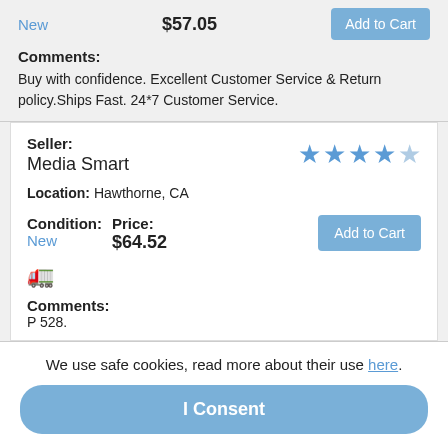New    $57.05    Add to Cart
Comments: Buy with confidence. Excellent Customer Service & Return policy.Ships Fast. 24*7 Customer Service.
Seller: Media Smart   Location: Hawthorne, CA
Condition: New   Price: $64.52   Add to Cart
[Figure (other): Truck/shipping icon]
Comments: P 528.
We use safe cookies, read more about their use here.
I Consent